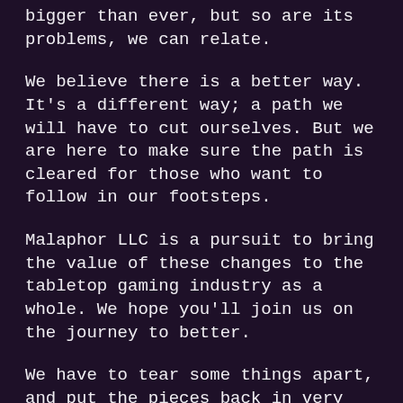bigger than ever, but so are its problems, we can relate.
We believe there is a better way. It's a different way; a path we will have to cut ourselves. But we are here to make sure the path is cleared for those who want to follow in our footsteps.
Malaphor LLC is a pursuit to bring the value of these changes to the tabletop gaming industry as a whole. We hope you'll join us on the journey to better.
We have to tear some things apart, and put the pieces back in very different places. We will discover new ways to think about the elements that make up our world. The unexpected combinations that will result are a feature, not a bug.